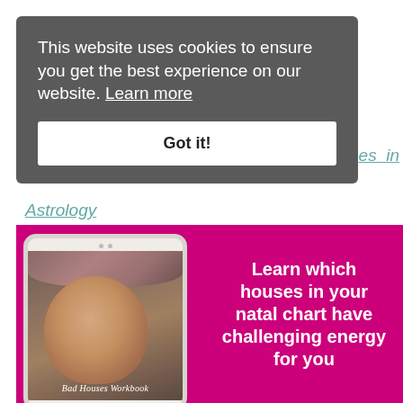This website uses cookies to ensure you get the best experience on our website. Learn more
Got it!
es  in
Astrology
[Figure (infographic): Promotional banner with magenta background showing a tablet device with a woman's portrait and flowers, titled 'Bad Houses Workbook', alongside text 'Learn which houses in your natal chart have challenging energy for you']